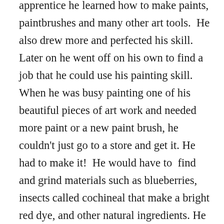apprentice he learned how to make paints, paintbrushes and many other art tools.  He also drew more and perfected his skill.  Later on he went off on his own to find a job that he could use his painting skill.  When he was busy painting one of his beautiful pieces of art work and needed more paint or a new paint brush, he couldn't just go to a store and get it. He had to make it!  He would have to  find and grind materials such as blueberries, insects called cochineal that make a bright red dye, and other natural ingredients. He would then mix it with egg yolk and water.  The paint lasts a long time too!  Remember, if you see a painting done by Giotto, its about 720 years old!  Giotto died in the year 1337 and left a lifetime of paintings behind him.  You can look at some of his paintings